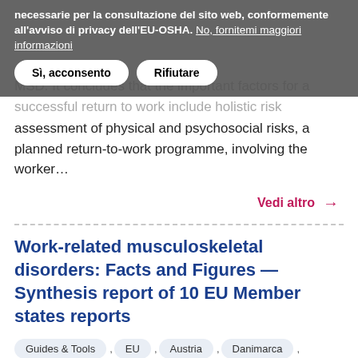necessarie per la consultazione del sito web, conformemente all'avviso di privacy dell'EU-OSHA. No, fornitemi maggiori informazioni
Sì, acconsento | Rifiutare
MSD. It concludes that the important factors for a successful return to work include holistic risk assessment of physical and psychosocial risks, a planned return-to-work programme, involving the worker...
Vedi altro →
Work-related musculoskeletal disorders: Facts and Figures — Synthesis report of 10 EU Member states reports
Guides & Tools , EU , Austria , Danimarca , Finlandia , Francia , Germania , Ungheria , Italia ,